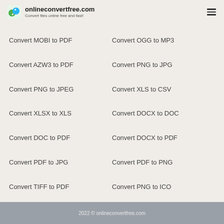onlineconvertfree.com — Convert files online free and fast!
Convert MOBI to PDF
Convert OGG to MP3
Convert AZW3 to PDF
Convert PNG to JPG
Convert PNG to JPEG
Convert XLS to CSV
Convert XLSX to XLS
Convert DOCX to DOC
Convert DOC to PDF
Convert DOCX to PDF
Convert PDF to JPG
Convert PDF to PNG
Convert TIFF to PDF
Convert PNG to ICO
2022 © onlineconvertfree.com